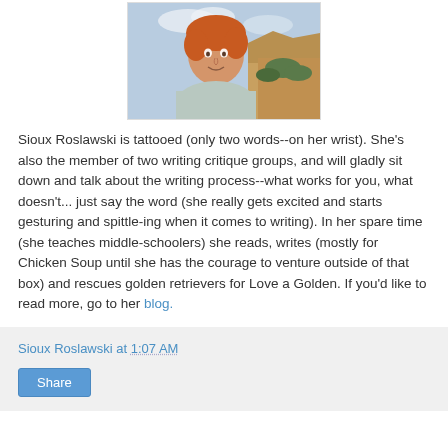[Figure (photo): Portrait photo of Sioux Roslawski, a woman with reddish-orange hair, smiling outdoors with rocky canyon landscape in background]
Sioux Roslawski is tattooed (only two words--on her wrist). She's also the member of two writing critique groups, and will gladly sit down and talk about the writing process--what works for you, what doesn't... just say the word (she really gets excited and starts gesturing and spittle-ing when it comes to writing). In her spare time (she teaches middle-schoolers) she reads, writes (mostly for Chicken Soup until she has the courage to venture outside of that box) and rescues golden retrievers for Love a Golden. If you'd like to read more, go to her blog.
Sioux Roslawski at 1:07 AM
Share